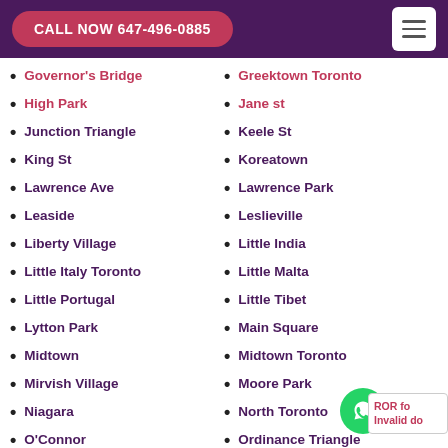CALL NOW 647-496-0885
Governor's Bridge
Greektown Toronto
High Park
Jane st
Junction Triangle
Keele St
King St
Koreatown
Lawrence Ave
Lawrence Park
Leaside
Leslieville
Liberty Village
Little India
Little Italy Toronto
Little Malta
Little Portugal
Little Tibet
Lytton Park
Main Square
Midtown
Midtown Toronto
Mirvish Village
Moore Park
Niagara
North Toronto
O'Connor
Ordinance Triangle